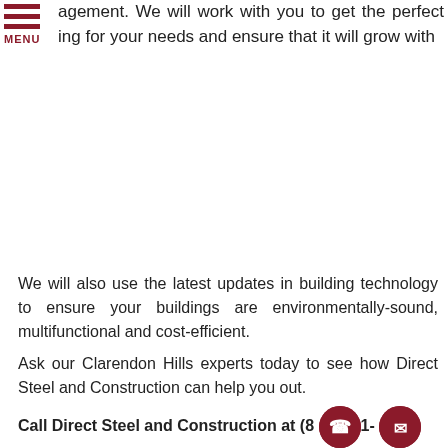agement. We will work with you to get the perfect ing for your needs and ensure that it will grow with
We will also use the latest updates in building technology to ensure your buildings are environmentally-sound, multifunctional and cost-efficient.
Ask our Clarendon Hills experts today to see how Direct Steel and Construction can help you out.
Call Direct Steel and Construction at (8__1- for a Free Consultation!